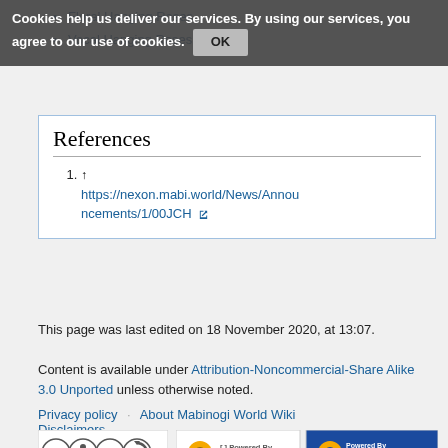Floral Hanging Roses
Vocal Hanging Roses
Cookies help us deliver our services. By using our services, you agree to our use of cookies. OK
References
↑ https://nexon.mabi.world/News/Announcements/1/00JCH
This page was last edited on 18 November 2020, at 13:07.
Content is available under Attribution-Noncommercial-Share Alike 3.0 Unported unless otherwise noted.
Privacy policy   About Mabinogi World Wiki
Disclaimers
[Figure (logo): Creative Commons Attribution-Noncommercial-Share Alike license badge]
[Figure (logo): Powered by MediaWiki and Semantic MediaWiki badges]